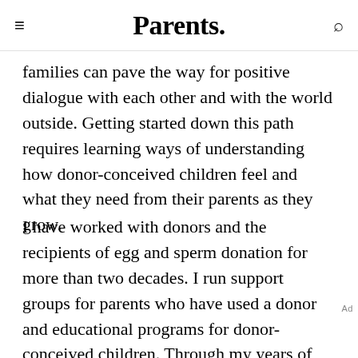Parents.
families can pave the way for positive dialogue with each other and with the world outside. Getting started down this path requires learning ways of understanding how donor-conceived children feel and what they need from their parents as they grow.
I have worked with donors and the recipients of egg and sperm donation for more than two decades. I run support groups for parents who have used a donor and educational programs for donor-conceived children. Through my years of experience, I have watched hundreds of parents